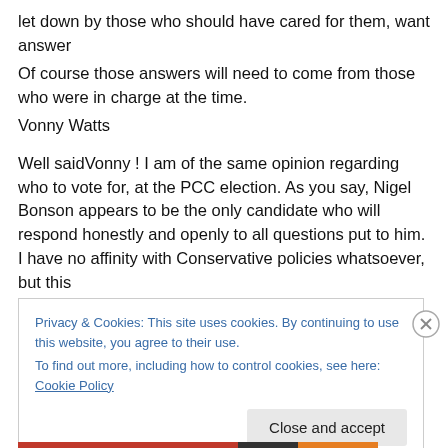let down by those who should have cared for them, want answer
Of course those answers will need to come from those who were in charge at the time.
Vonny Watts
Well saidVonny ! I am of the same opinion regarding who to vote for, at the PCC election. As you say, Nigel Bonson appears to be the only candidate who will respond honestly and openly to all questions put to him. I have no affinity with Conservative policies whatsoever, but this
Privacy & Cookies: This site uses cookies. By continuing to use this website, you agree to their use.
To find out more, including how to control cookies, see here: Cookie Policy